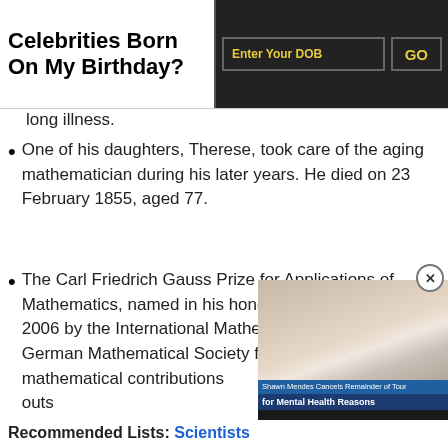Celebrities Born On My Birthday?
long illness.
One of his daughters, Therese, took care of the aging mathematician during his later years. He died on 23 February 1855, aged 77.
The Carl Friedrich Gauss Prize for Applications of Mathematics, named in his honor, was launched in 2006 by the International Mathematical Union and the German Mathematical Society for "outstanding mathematical contributions with significant applications outs
[Figure (photo): Video thumbnail showing a person (Shawn Mendes) with overlay text: Shawn Mendes Cancels Remainder of Tour for Mental Health Reasons]
Recommended Lists: Scientists